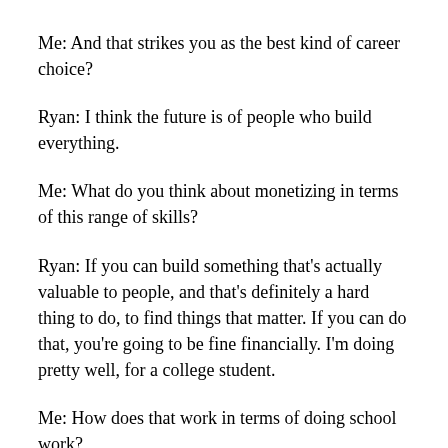Me: And that strikes you as the best kind of career choice?
Ryan: I think the future is of people who build everything.
Me: What do you think about monetizing in terms of this range of skills?
Ryan: If you can build something that's actually valuable to people, and that's definitely a hard thing to do, to find things that matter. If you can do that, you're going to be fine financially. I'm doing pretty well, for a college student.
Me: How does that work in terms of doing school work?
Ryan: If you care about something, you'll find a way.